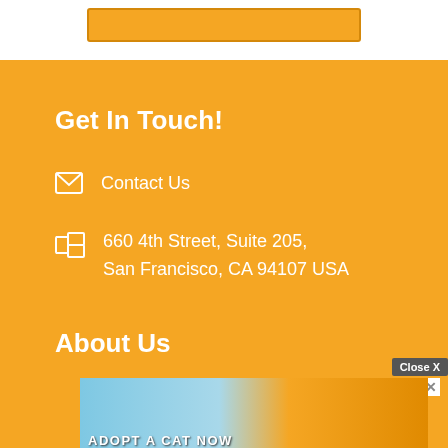[Figure (screenshot): Orange button/banner at top of page on white background]
Get In Touch!
Contact Us
660 4th Street, Suite 205,
San Francisco, CA 94107 USA
About Us
SharpBrains is an independent market research firm tracking health and performance applications of brain science. We prepare general and customized market research and intelligence reports and analysis an...
[Figure (screenshot): Advertisement overlay showing cat game ad with 'Close X' button and 'ADOPT A CAT NOW' text]